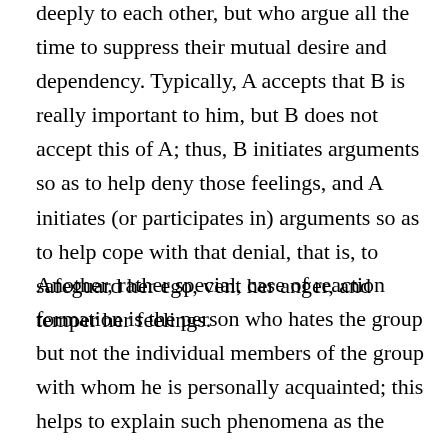deeply to each other, but who argue all the time to suppress their mutual desire and dependency. Typically, A accepts that B is really important to him, but B does not accept this of A; thus, B initiates arguments so as to help deny those feelings, and A initiates (or participates in) arguments so as to help cope with that denial, that is, to safeguard her ego, vent her anger, and temper her feelings.
Another, rather special, case of reaction formation is the person who hates the group but not the individual members of the group with whom he is personally acquainted; this helps to explain such phenomena as the